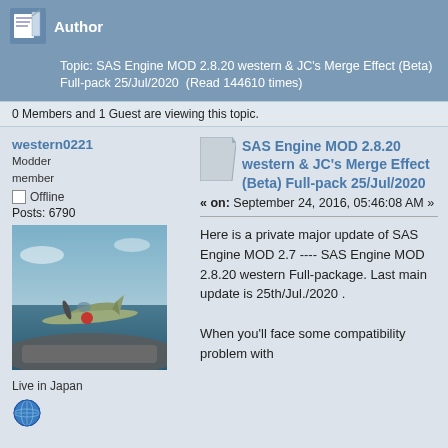Author
Topic: SAS Engine MOD 2.8.20 western & JC's Merge Effect (Beta) Full-pack 25/Jul/2020  (Read 144610 times)
0 Members and 1 Guest are viewing this topic.
western0221
Modder
member
Offline
Posts: 6790
[Figure (photo): Photo of a WWII Japanese Zero fighter plane on an aircraft carrier deck, viewed from above-front angle, sky and ocean in background.]
Live in Japan
[Figure (illustration): Globe/world icon]
SAS Engine MOD 2.8.20 western & JC's Merge Effect (Beta) Full-pack 25/Jul/2020
« on: September 24, 2016, 05:46:08 AM »
Here is a private major update of SAS Engine MOD 2.7 ---- SAS Engine MOD 2.8.20 western Full-package. Last main update is 25th/Jul./2020 .

When you'll face some compatibility problem with